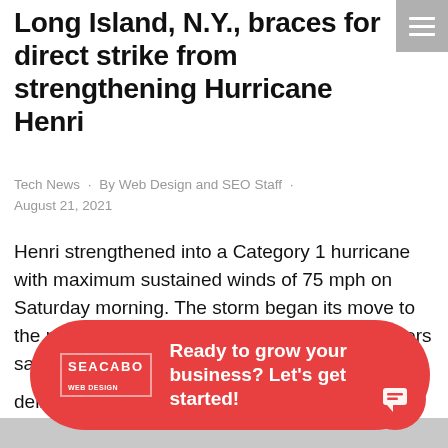Long Island, N.Y., braces for direct strike from strengthening Hurricane Henri
Tech News · By Web Design and SEO Staff · August 21, 2021
Henri strengthened into a Category 1 hurricane with maximum sustained winds of 75 mph on Saturday morning. The storm began its move to the north on Friday, and AccuWeather forecasters say the storm is on a
[Figure (infographic): Red rounded banner advertisement overlay with SEACABO logo and text: Ready to grow your business? Let's get started!]
delivered a direct hit...